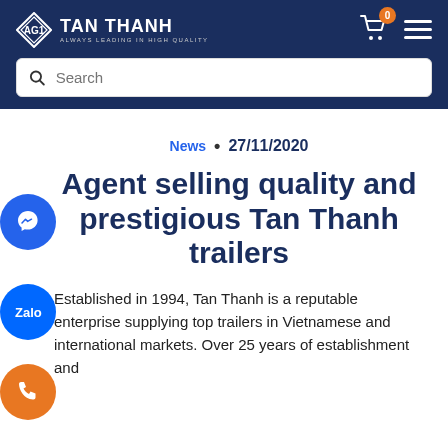[Figure (logo): Tan Thanh logo with diamond emblem and text 'TAN THANH ALWAYS LEADING IN HIGH QUALITY' on dark navy header]
[Figure (screenshot): Search bar with magnifier icon and placeholder text 'Search']
News • 27/11/2020
Agent selling quality and prestigious Tan Thanh trailers
Established in 1994, Tan Thanh is a reputable enterprise supplying top trailers in Vietnamese and international markets. Over 25 years of establishment and